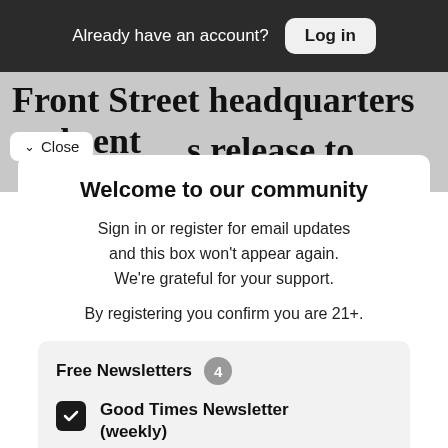Already have an account? Log in
Front Street headquarters and sent s release to Salvadoran news
Close
Welcome to our community
Sign in or register for email updates and this box won't appear again. We're grateful for your support.
By registering you confirm you are 21+.
Free Newsletters 4
Good Times Newsletter (weekly)
News stories, arts and dining